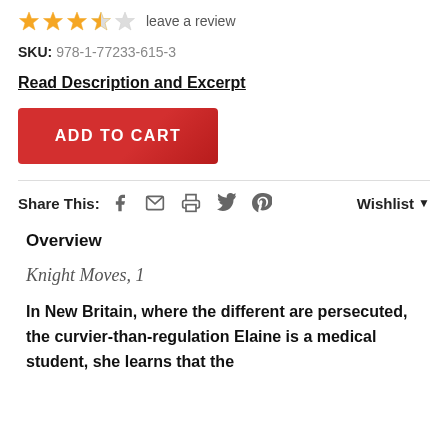[Figure (other): Star rating: 3.5 out of 5 stars, with a 'leave a review' link]
SKU: 978-1-77233-615-3
Read Description and Excerpt
ADD TO CART
Share This:    Wishlist
Overview
Knight Moves, 1
In New Britain, where the different are persecuted, the curvier-than-regulation Elaine is a medical student, she learns that the